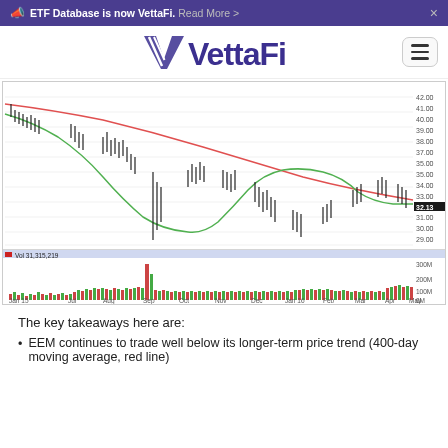ETF Database is now VettaFi. Read More >
[Figure (logo): VettaFi logo with stylized V and hamburger menu icon]
[Figure (continuous-plot): Stock price chart for EEM from Jan 15 to May 16, showing candlestick price data with a downward-sloping red 400-day moving average line and a green shorter-term moving average line. Price ranges from about 27 to 42. Volume panel at bottom shows bars labeled Vol 31,315,219 with y-axis up to 300M. X-axis labels: Jan 15, Jul, Aug, Sep, Oct, Nov, Dec, Jan 16, Feb, Mar, Apr, May.]
The key takeaways here are:
EEM continues to trade well below its longer-term price trend (400-day moving average, red line)